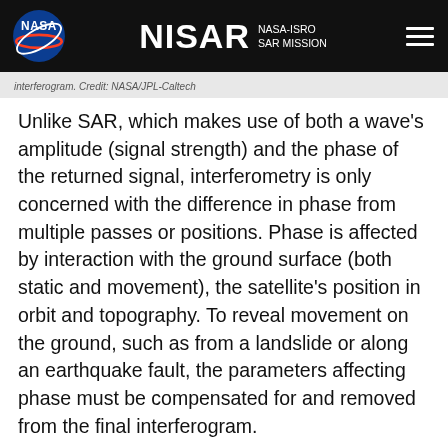NISAR NASA-ISRO SAR MISSION
interferogram. Credit: NASA/JPL-Caltech
Unlike SAR, which makes use of both a wave's amplitude (signal strength) and the phase of the returned signal, interferometry is only concerned with the difference in phase from multiple passes or positions. Phase is affected by interaction with the ground surface (both static and movement), the satellite's position in orbit and topography. To reveal movement on the ground, such as from a landslide or along an earthquake fault, the parameters affecting phase must be compensated for and removed from the final interferogram.
The radar signal reflected back from a single resolution unit, i.e., one pixel, is a combination of many targets or “scatterers” on the ground – trees, concrete, buildings, etc. This means that the phase